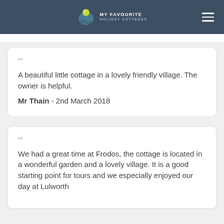MY FAVOURITE HOLIDAY COTTAGES
" "
A beautiful little cottage in a lovely friendly village. The owner is helpful.
Mr Thain - 2nd March 2018
" "
We had a great time at Frodos, the cottage is located in a wonderful garden and a lovely village. It is a good starting point for tours and we especially enjoyed our day at Lulworth